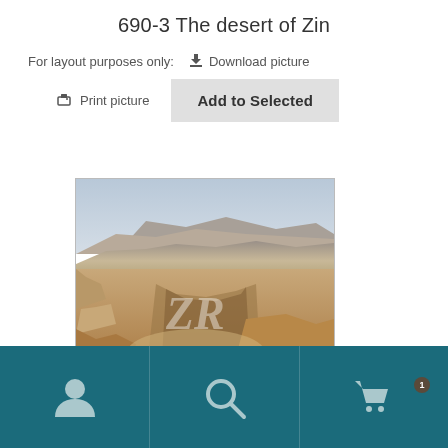690-3 The desert of Zin
For layout purposes only:   Download picture
Print picture   Add to Selected
[Figure (photo): Desert landscape photograph of the desert of Zin, showing arid rocky terrain, dry riverbeds, and layered cliffs under a hazy sky. Watermark 'ZR' overlaid in semi-transparent white italic text.]
Navigation footer with user account icon, search icon, and shopping cart icon with badge, on teal/dark blue background.